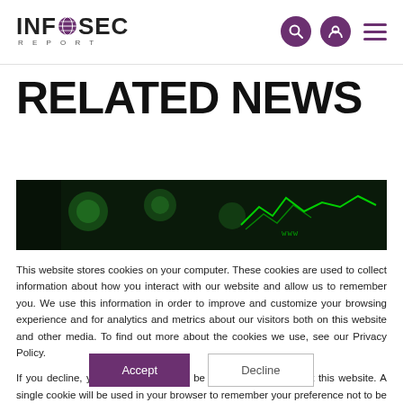INFOSEC REPORT
RELATED NEWS
[Figure (photo): Dark background with green glowing circuit/network graphics and www text overlay]
This website stores cookies on your computer. These cookies are used to collect information about how you interact with our website and allow us to remember you. We use this information in order to improve and customize your browsing experience and for analytics and metrics about our visitors both on this website and other media. To find out more about the cookies we use, see our Privacy Policy.
If you decline, your information won't be tracked when you visit this website. A single cookie will be used in your browser to remember your preference not to be tracked.